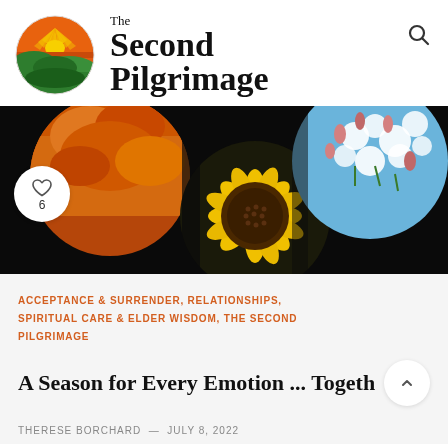[Figure (logo): The Second Pilgrimage website logo: circular sunset landscape icon with orange sky, yellow sun rays, and green hills, next to text 'The Second Pilgrimage' in serif font, with a search icon top right]
[Figure (photo): Hero banner showing circular crop images: autumn orange leaves, a yellow sunflower center, and pink/white apple blossoms against blue sky, on a dark background. A white heart/like button circle with '6' is overlaid on the left.]
ACCEPTANCE & SURRENDER, RELATIONSHIPS, SPIRITUAL CARE & ELDER WISDOM, THE SECOND PILGRIMAGE
A Season for Every Emotion ... Togeth
THERESE BORCHARD — JULY 8, 2022